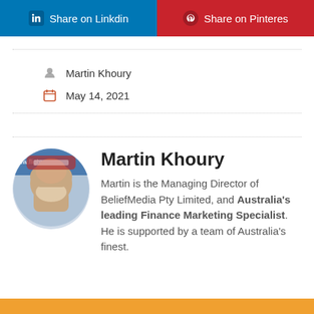[Figure (infographic): Two social share buttons side by side: LinkedIn (blue) and Pinterest (red)]
Martin Khoury
May 14, 2021
[Figure (photo): Circular profile photo of Martin Khoury, appearing upside down, with www.flight.a... watermark visible]
Martin Khoury
Martin is the Managing Director of BeliefMedia Pty Limited, and Australia's leading Finance Marketing Specialist. He is supported by a team of Australia's finest.